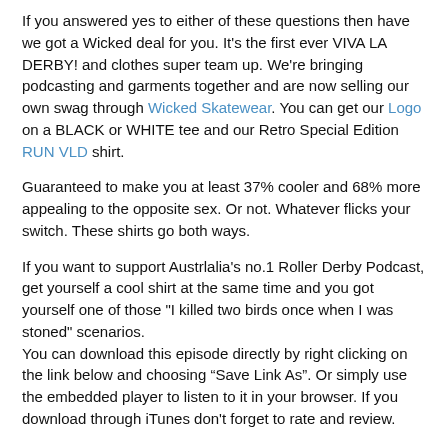If you answered yes to either of these questions then have we got a Wicked deal for you. It's the first ever VIVA LA DERBY! and clothes super team up. We're bringing podcasting and garments together and are now selling our own swag through Wicked Skatewear. You can get our Logo on a BLACK or WHITE tee and our Retro Special Edition RUN VLD shirt.
Guaranteed to make you at least 37% cooler and 68% more appealing to the opposite sex. Or not. Whatever flicks your switch. These shirts go both ways.
If you want to support Austrlalia's no.1 Roller Derby Podcast, get yourself a cool shirt at the same time and you got yourself one of those "I killed two birds once when I was stoned" scenarios.
You can download this episode directly by right clicking on the link below and choosing “Save Link As”. Or simply use the embedded player to listen to it in your browser. If you download through iTunes don't forget to rate and review.
VIVA LA DERBY! Episode #13
This episodes photo is of Captain Ratz from Sydney Roller Derby League on 21 April 2012 taken by the amazing Captain Shutterspeed aka Kim Lee